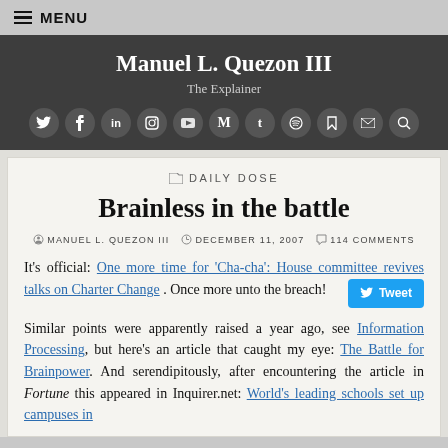MENU
Manuel L. Quezon III — The Explainer
[Figure (other): Row of social media icon circles: Twitter, Facebook, LinkedIn, Instagram, YouTube, Medium, Tumblr, Spotify, unknown, Email, Search]
DAILY DOSE
Brainless in the battle
MANUEL L. QUEZON III   DECEMBER 11, 2007   114 COMMENTS
It's official: One more time for 'Cha-cha': House committee revives talks on Charter Change. Once more unto the breach!
Similar points were apparently raised a year ago, see Information Processing, but here's an article that caught my eye: The Battle for Brainpower. And serendipitously, after encountering the article in Fortune this appeared in Inquirer.net: World's leading schools set up campuses in